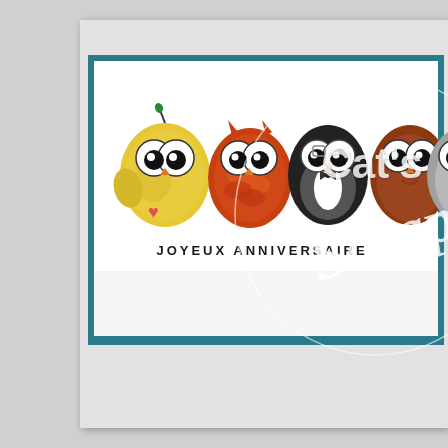[Figure (illustration): A crafting/scrapbooking card photo showing a white card with a teal/dark cyan border frame. Inside the frame is a row of cartoon owls in various colors (yellow, orange, brown, gray) with big eyes, and below them the stamped text 'JOYEUX ANNIVERSAIRE'. A circular watermark reading 'Cat's Scrap' in white overlays the image.]